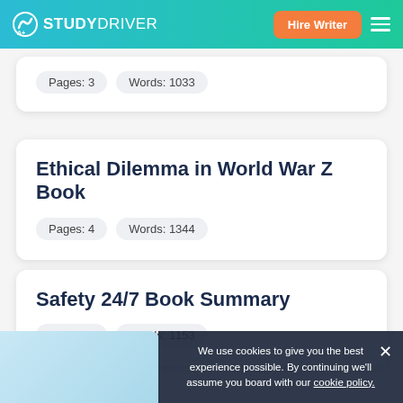STUDYDRIVER — Hire Writer
Pages: 3   Words: 1033
Ethical Dilemma in World War Z Book
Pages: 4   Words: 1344
Safety 24/7 Book Summary
Pages: 4   Words: 1153
We use cookies to give you the best experience possible. By continuing we'll assume you board with our cookie policy.